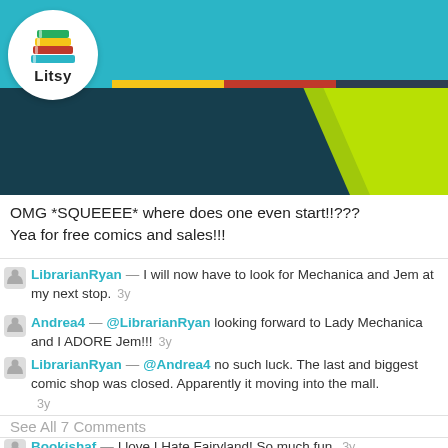[Figure (screenshot): Litsy app navigation bar with teal background, Litsy logo (stack of colorful books) in white circle on left, and nav icons (home, search, plus, lightning, profile) on right]
[Figure (photo): Partial book cover image with dark teal background and bright yellow-green element visible]
OMG *SQUEEEE* where does one even start!!???
Yea for free comics and sales!!!
LibrarianRyan — I will now have to look for Mechanica and Jem at my next stop. 3y
Andrea4 — @LibrarianRyan looking forward to Lady Mechanica and I ADORE Jem!!! 3y
LibrarianRyan — @Andrea4 no such luck. The last and biggest comic shop was closed. Apparently it moving into the mall. 3y
See All 7 Comments
Bookishaf — I love I Hate Fairyland! So much fun. 3y